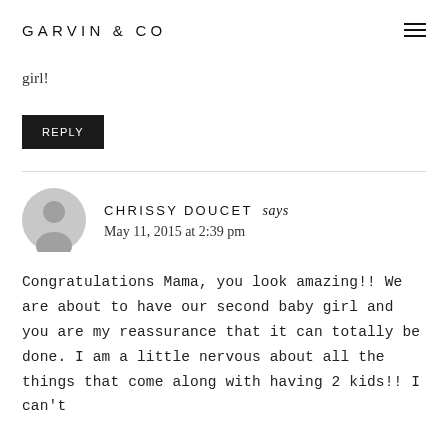GARVIN & CO
…girl!
REPLY
CHRISSY DOUCET says
May 11, 2015 at 2:39 pm
Congratulations Mama, you look amazing!! We are about to have our second baby girl and you are my reassurance that it can totally be done. I am a little nervous about all the things that come along with having 2 kids!! I can't